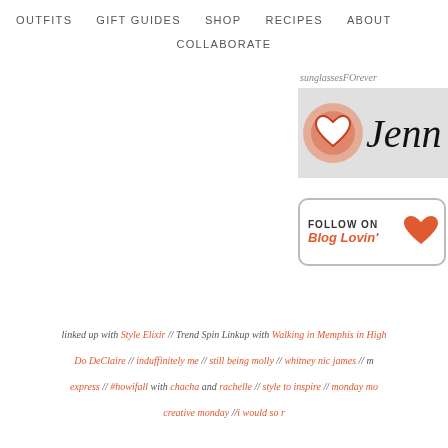OUTFITS  GIFT GUIDES  SHOP  RECIPES  ABOUT  COLLABORATE
sunglassesFOrever
[Figure (logo): Jenn blog logo with orange watercolor heart and cursive text 'Jenn']
[Figure (illustration): Follow on Blog Lovin' button with orange heart icon]
linked up with Style Elixir  //  Trend Spin Linkup with Walking in Memphis in High
Do DeClaire  // induffinitely me // still being molly // whitney nic james  //  m
express // #howifall with chacha and rachelle  //  style to inspire // monday mo
creative monday //i would so r